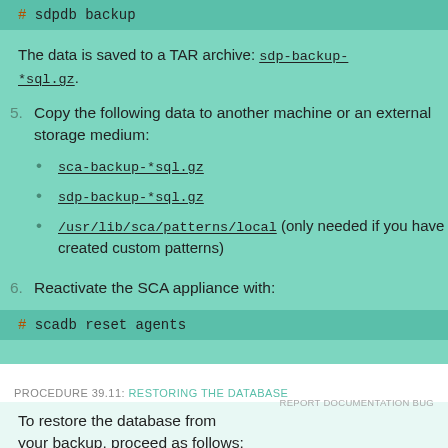# sdpdb backup
The data is saved to a TAR archive: sdp-backup-*sql.gz.
5. Copy the following data to another machine or an external storage medium:
sca-backup-*sql.gz
sdp-backup-*sql.gz
/usr/lib/sca/patterns/local (only needed if you have created custom patterns)
6. Reactivate the SCA appliance with:
# scadb reset agents
PROCEDURE 39.11: RESTORING THE DATABASE
To restore the database from your backup, proceed as follows: